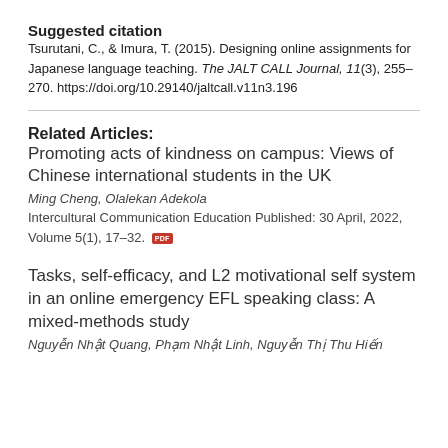Suggested citation
Tsurutani, C., & Imura, T. (2015). Designing online assignments for Japanese language teaching. The JALT CALL Journal, 11(3), 255–270. https://doi.org/10.29140/jaltcall.v11n3.196
Related Articles:
Promoting acts of kindness on campus: Views of Chinese international students in the UK
Ming Cheng, Olalekan Adekola
Intercultural Communication Education Published: 30 April, 2022, Volume 5(1), 17–32.
Tasks, self-efficacy, and L2 motivational self system in an online emergency EFL speaking class: A mixed-methods study
Nguyễn Nhật Quang, Phạm Nhật Linh, Nguyễn Thị Thu Hiến